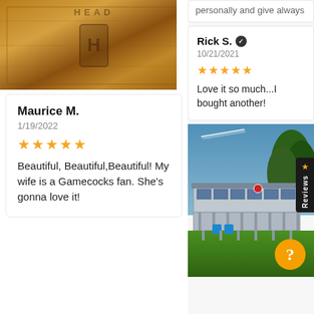[Figure (photo): Photo of wooden branded boxes/crates with HEAD logo, brown warm tones]
Maurice M.
1/19/2022
★★★★★
Beautiful, Beautiful,Beautiful! My wife is a Gamecocks fan. She's gonna love it!
personally and give always
Rick S. ✔
10/21/2021
★★★★★
Love it so much...I bought another!
[Figure (photo): Outdoor photo of a two-story screened porch building with blue chairs on a green lawn, trees in background, orange help button overlay, Reviews tab on right side]